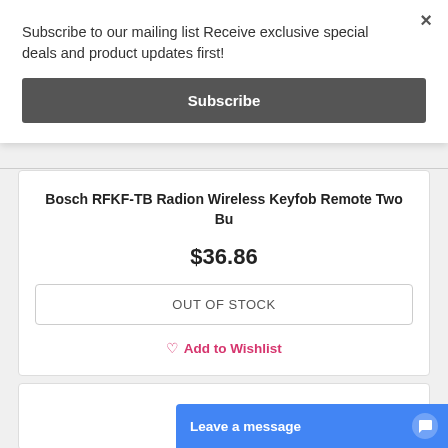Subscribe to our mailing list Receive exclusive special deals and product updates first!
Subscribe
×
Bosch RFKF-TB Radion Wireless Keyfob Remote Two Bu
$36.86
OUT OF STOCK
Add to Wishlist
Leave a message